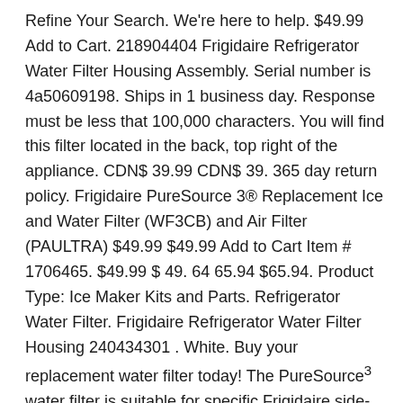Refine Your Search. We're here to help. $49.99 Add to Cart. 218904404 Frigidaire Refrigerator Water Filter Housing Assembly. Serial number is 4a50609198. Ships in 1 business day. Response must be less that 100,000 characters. You will find this filter located in the back, top right of the appliance. CDN$ 39.99 CDN$ 39. 365 day return policy. Frigidaire PureSource 3® Replacement Ice and Water Filter (WF3CB) and Air Filter (PAULTRA) $49.99 $49.99 Add to Cart Item # 1706465. $49.99 $ 49. 64 65.94 $65.94. Product Type: Ice Maker Kits and Parts. Refrigerator Water Filter. Frigidaire Refrigerator Water Filter Housing 240434301 . White. Buy your replacement water filter today! The PureSource³ water filter is suitable for specific Frigidaire side-by-side refrigerators manufactured after 2009. You will find this filter located in the back, top right of the appliance. Free shipping. $8.00 shipping. 4.7 out of 5 stars 380. Refrigeration Trim Kit. Frigidaire ULTRAWF PureSource Ultra Water Filter, Original, White, 1 Count Frigidaire Water Filters, Air Filters & Complete Care Bundles WF2CB. Fast shipping. Add To Cart. Shop refrigerator